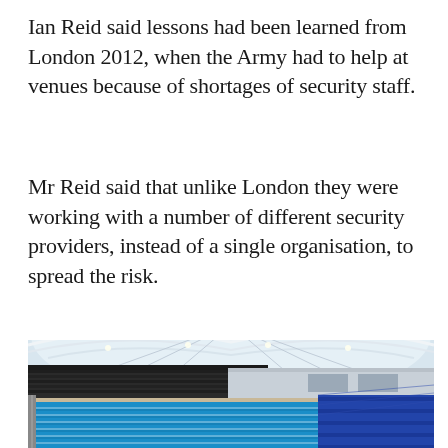Ian Reid said lessons had been learned from London 2012, when the Army had to help at venues because of shortages of security staff.
Mr Reid said that unlike London they were working with a number of different security providers, instead of a single organisation, to spread the risk.
[Figure (photo): Interior of an Olympic-style aquatics centre showing a large blue swimming pool with lane lines, empty blue spectator seating on the right, black spectator stands in the background, and a large arched white roof structure with steel trusses and lighting above.]